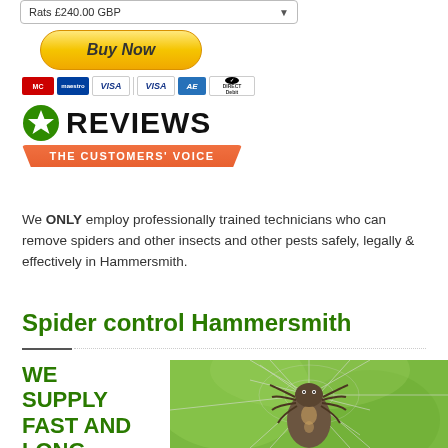[Figure (screenshot): Input field showing 'Rats £240.00 GBP' with dropdown arrow]
[Figure (screenshot): PayPal Buy Now button in yellow/gold gradient]
[Figure (screenshot): Payment icons row: Mastercard, Maestro, VISA, VISA, American Express, Direct Debit]
[Figure (logo): Reviews badge with green star icon, REVIEWS heading, and orange banner reading THE CUSTOMERS' VOICE]
We ONLY employ professionally trained technicians who can remove spiders and other insects and other pests safely, legally & effectively in Hammersmith.
Spider control Hammersmith
WE SUPPLY FAST AND LONG-
[Figure (photo): Close-up photograph of a spider on its web against a green background]